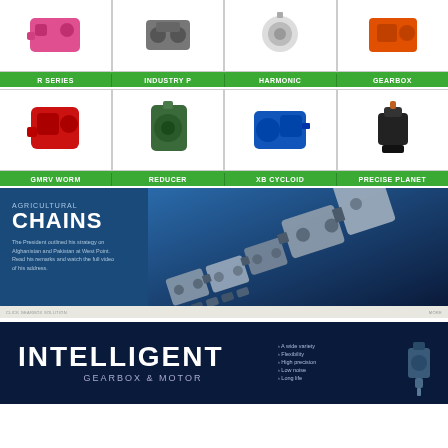[Figure (photo): Grid of 8 industrial gearbox/reducer product photos with labels: R SERIES, INDUSTRY P, HARMONIC, GEARBOX (top row); GMRV WORM, REDUCER, XB CYCLOID, PRECISE PLANET (bottom row)]
[Figure (photo): Agricultural Chains banner with text: AGRICULTURAL CHAINS, description text about the President's strategy, and a 3D rendered chain image on the right]
[Figure (photo): INTELLIGENT GEARBOX & MOTOR banner with bullet points: A wide variety, Flexibility, High precision, Low noise, Long life, and a motor/gearbox image]